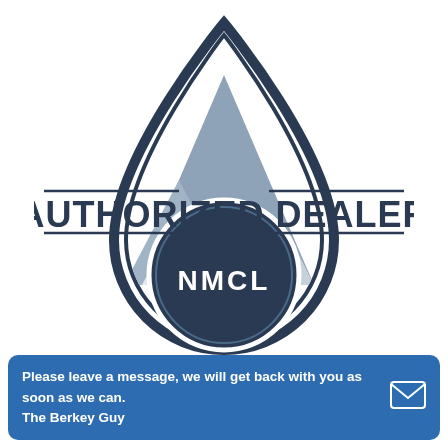[Figure (logo): NMCL Authorized Dealer logo: a water droplet shape outlined in dark navy, containing a mountain silhouette in slate blue/grey with snow, and a dark navy circle at the bottom. Text 'AUTHORIZED DEALER' in large dark navy block letters across the middle, and 'NMCL' in white bold letters inside the dark circle at the bottom.]
Please leave a message, we will get back with you as soon as we can.
The Berkey Guy